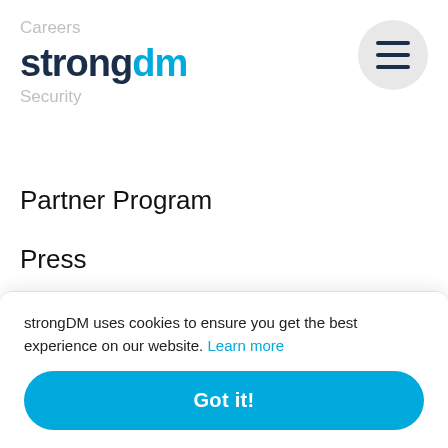Careers
strongdm
Security
Partner Program
Press
GET STARTED
Try It Free
Get in Touch!
Sch
strongDM uses cookies to ensure you get the best experience on our website. Learn more
Got it!